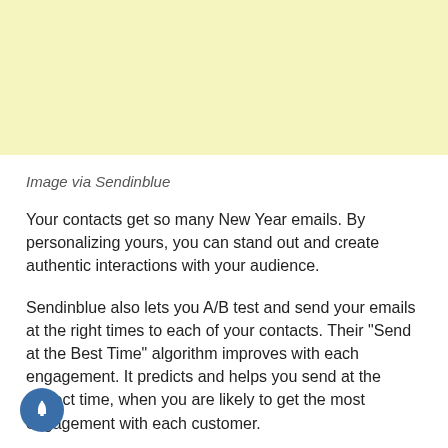[Figure (other): Yellow/cream colored background block at top of page]
Image via Sendinblue
Your contacts get so many New Year emails. By personalizing yours, you can stand out and create authentic interactions with your audience.
Sendinblue also lets you A/B test and send your emails at the right times to each of your contacts. Their "Send at the Best Time" algorithm improves with each engagement. It predicts and helps you send at the perfect time, when you are likely to get the most engagement with each customer.